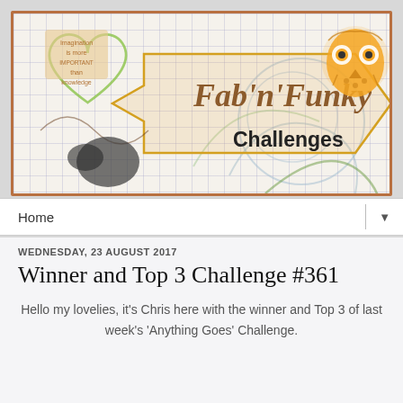[Figure (illustration): Fab'n'Funky Challenges blog banner with grid background, green heart shape on left with quote text 'imagination is more important than knowledge', large orange arrow in center, orange owl illustration in top right, brown italic text 'Fab'n'Funky' and bold 'Challenges'. Brown border frame around banner.]
Home ▼
WEDNESDAY, 23 AUGUST 2017
Winner and Top 3 Challenge #361
Hello my lovelies, it's Chris here with the winner and Top 3 of last week's 'Anything Goes' Challenge.